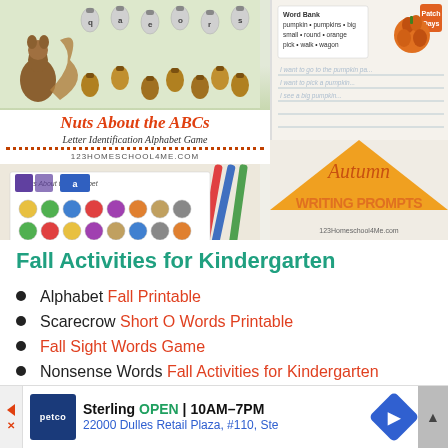[Figure (illustration): Two educational resource images side by side: left shows 'Nuts About the ABCs Letter Identification Alphabet Game' from 123homeschool4me.com with squirrel/acorn theme and a worksheet with colored circles; right shows autumn writing prompts worksheet with word bank and lined writing space, plus 'Autumn WRITING PROMPTS' text over orange triangle background.]
Fall Activities for Kindergarten
Alphabet Fall Printable
Scarecrow Short O Words Printable
Fall Sight Words Game
Nonsense Words Fall Activities for Kindergarten
Color by Letter Fall Worksheets
[Figure (screenshot): Petco advertisement banner: Sterling OPEN 10AM-7PM, 22000 Dulles Retail Plaza, #110, Ste with navigation arrow icon]